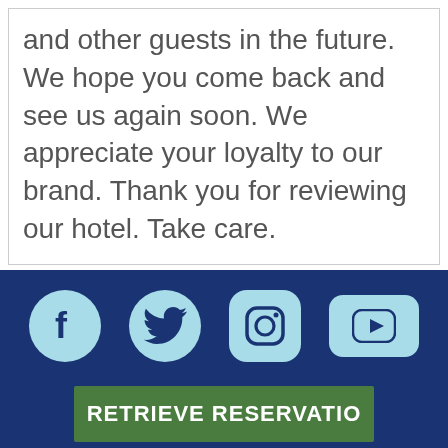and other guests in the future. We hope you come back and see us again soon. We appreciate your loyalty to our brand. Thank you for reviewing our hotel. Take care.
[Figure (infographic): Social media icons: Facebook, Twitter, Instagram, YouTube on dark blue background]
RETRIEVE RESERVATION